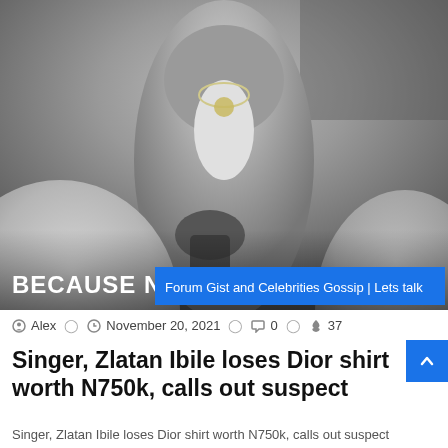[Figure (photo): Black and white photograph of a person (Zlatan Ibile) wearing a jacket and chain necklace, with blurred figures in the foreground. Text overlaid: 'BECAUSE NO' in white bold font on left and 'Forum Gist and Celebrities Gossip | Lets talk' on a blue banner on the right.]
Alex  November 20, 2021  0  37
Singer, Zlatan Ibile loses Dior shirt worth N750k, calls out suspect
Singer, Zlatan Ibile loses Dior shirt worth N750k, calls out suspect